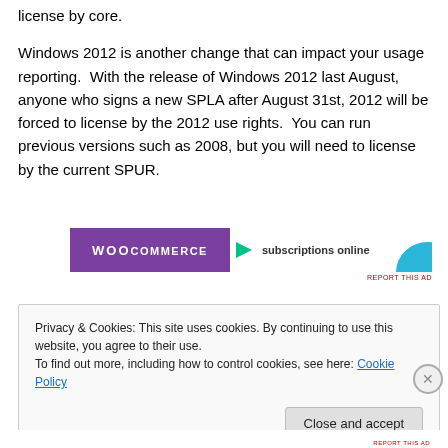license by core.
Windows 2012 is another change that can impact your usage reporting.  With the release of Windows 2012 last August, anyone who signs a new SPLA after August 31st, 2012 will be forced to license by the 2012 use rights.  You can run previous versions such as 2008, but you will need to license by the current SPUR.
[Figure (other): WooCommerce advertisement banner with purple logo and text 'subscriptions online']
Privacy & Cookies: This site uses cookies. By continuing to use this website, you agree to their use.
To find out more, including how to control cookies, see here: Cookie Policy
Close and accept